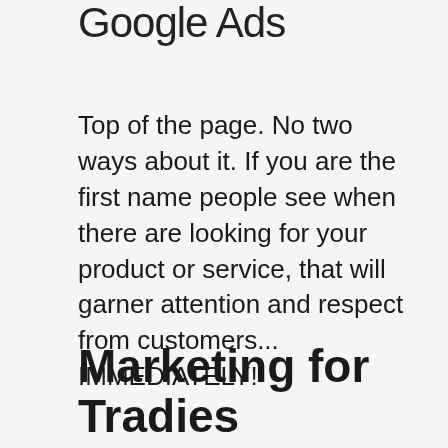Google Ads
Top of the page. No two ways about it. If you are the first name people see when there are looking for your product or service, that will garner attention and respect from customers... IMMEDIATELY!
Marketing for Tradies